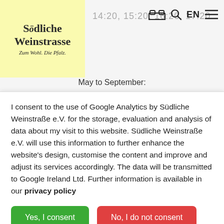[Figure (logo): Südliche Weinstrasse logo on yellow background with text 'Zum Wohl. Die Pfalz.']
14:20, 15:20, 16:20, 17:20
May to September:
I consent to the use of Google Analytics by Südliche Weinstraße e.V. for the storage, evaluation and analysis of data about my visit to this website. Südliche Weinstraße e.V. will use this information to further enhance the website's design, customise the content and improve and adjust its services accordingly. The data will be transmitted to Google Ireland Ltd. Further information is available in our privacy policy
Yes, I consent
No, I do not consent